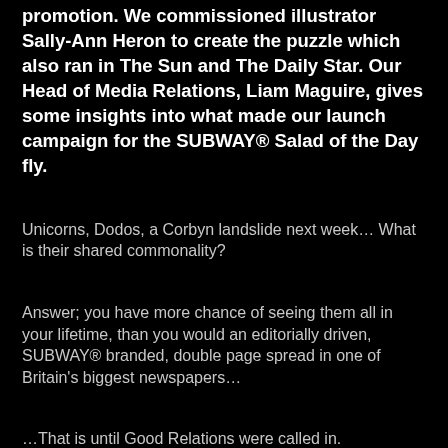promotion. We commissioned illustrator Sally-Ann Heron to create the puzzle which also ran in The Sun and The Daily Star. Our Head of Media Relations, Liam Maguire, gives some insights into what made our launch campaign for the SUBWAY® Salad of the Day fly.
Unicorns, Dodos, a Corbyn landslide next week… What is their shared commonality?
Answer; you have more chance of seeing them all in your lifetime, than you would an editorially driven, SUBWAY® branded, double page spread in one of Britain's biggest newspapers…
…That is until Good Relations were called in.